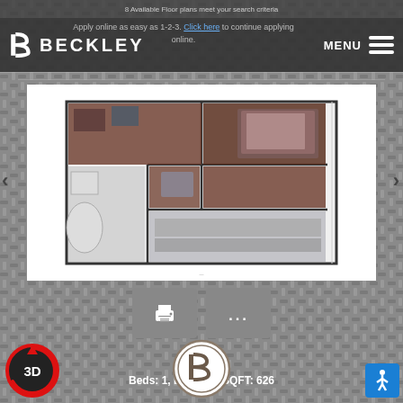8 Available Floor plans meet your search criteria
Apply online as easy as 1-2-3. Click here to continue applying online.
[Figure (illustration): Beckley logo with stylized B letterform and BECKLEY text in white on dark background]
MENU
[Figure (photo): 3D floor plan rendering for unit A1 showing 1-bedroom 1-bathroom apartment layout with living area, bedroom, bathroom, and kitchen. Shown in brown and white tones with furniture.]
A1
Beds: 1, Baths: 1, SQFT: 626